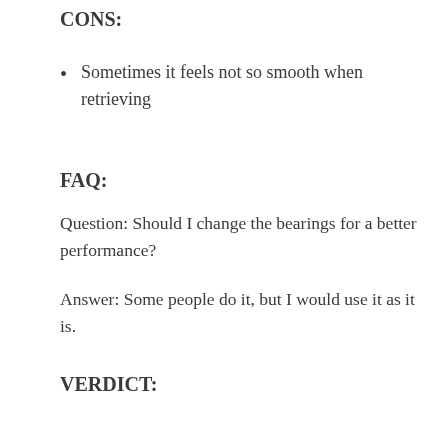CONS:
Sometimes it feels not so smooth when retrieving
FAQ:
Question: Should I change the bearings for a better performance?
Answer: Some people do it, but I would use it as it is.
VERDICT: